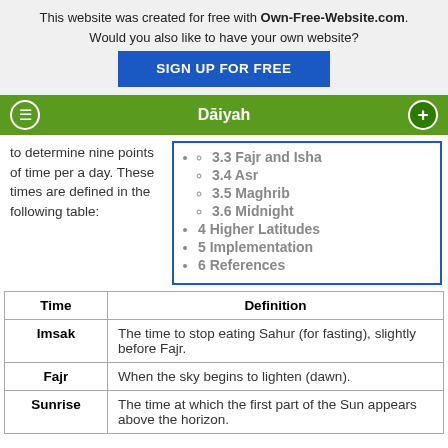This website was created for free with Own-Free-Website.com. Would you also like to have your own website? SIGN UP FOR FREE
Dāiyah
to determine nine points of time per a day. These times are defined in the following table:
3.3 Fajr and Isha
3.4 Asr
3.5 Maghrib
3.6 Midnight
4 Higher Latitudes
5 Implementation
6 References
| Time | Definition |
| --- | --- |
| Imsak | The time to stop eating Sahur (for fasting), slightly before Fajr. |
| Fajr | When the sky begins to lighten (dawn). |
| Sunrise | The time at which the first part of the Sun appears above the horizon. |